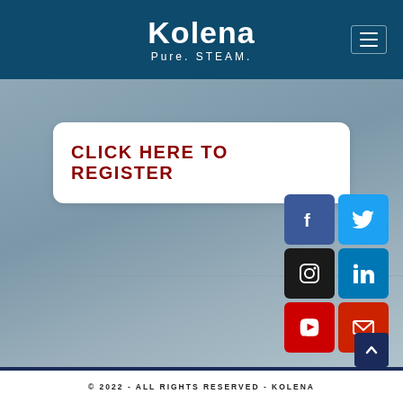[Figure (logo): Kolena logo with text 'Kolena Pure. STEAM.' on dark teal background header with hamburger menu icon]
CLICK HERE TO REGISTER
[Figure (infographic): Social media icons: Facebook (blue), Twitter (light blue), Instagram (black), LinkedIn (blue), YouTube (red), Email (red)]
© 2022 - ALL RIGHTS RESERVED - KOLENA